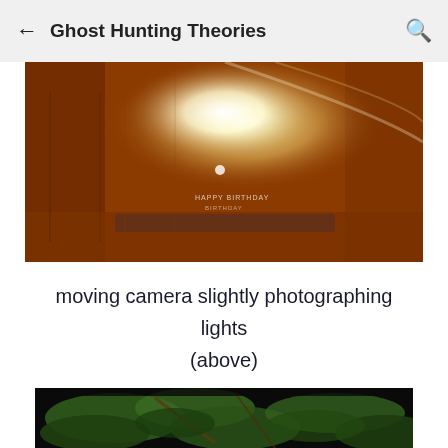Ghost Hunting Theories
[Figure (photo): Blurry orange-tinted room photograph with bright white light source in upper center, creating lens flare and motion blur effect]
moving camera slightly photographing lights (above)
[Figure (photo): Dark photograph showing green foliage/leaves against a black background]